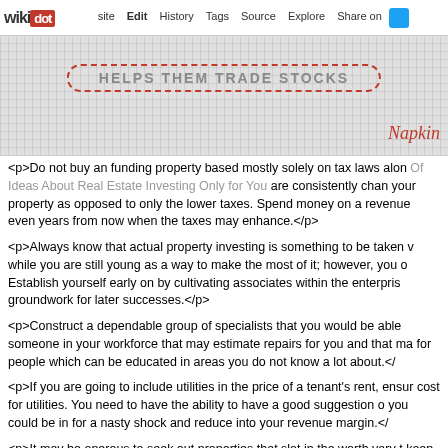wikidot | site | Edit | History | Tags | Source | Explore | Share on [Twitter]
[Figure (screenshot): Hero image with grid/dot pattern background, dashed red oval border with text 'HELPS THEM TRADE STOCKS', and italic red text 'Napkin' in lower right corner.]
<p>Do not buy an funding property based mostly solely on tax laws alone. Of Ideas About Real Estate Investing Only for You are consistently changing your property as opposed to only the lower taxes. Spend money on a revenue even years from now when the taxes may enhance.</p>
<p>Always know that actual property investing is something to be taken while you are still young as a way to make the most of it; however, you o Establish yourself early on by cultivating associates within the enterprise groundwork for later successes.</p>
<p>Construct a dependable group of specialists that you would be able someone in your workforce that may estimate repairs for you and that m for people which can be educated in areas you do not know a lot about.</
<p>If you are going to include utilities in the price of a tenant's rent, ensure cost for utilities. You need to have the ability to have a good suggestion o you could be in for a nasty shock and reduce into your revenue margin.</
<p>It may be onerous to seek out properties that slot in the worth vary th keep patient. Funding Advice You Absolutely Have to Know might tempt try to afford one thing you cannot actually pay for, but attempt to keep